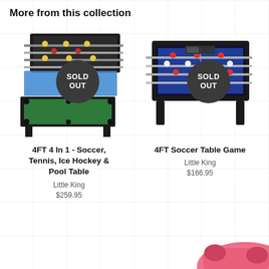More from this collection
[Figure (photo): 4FT 4-in-1 multi-game table (soccer, tennis, ice hockey, pool) with SOLD OUT badge overlay]
4FT 4 In 1 - Soccer, Tennis, Ice Hockey & Pool Table
Little King
$259.95
[Figure (photo): 4FT Soccer Table Game (foosball) with SOLD OUT badge overlay]
4FT Soccer Table Game
Little King
$166.95
[Figure (photo): Partial view of a pink object at bottom right corner of the page]